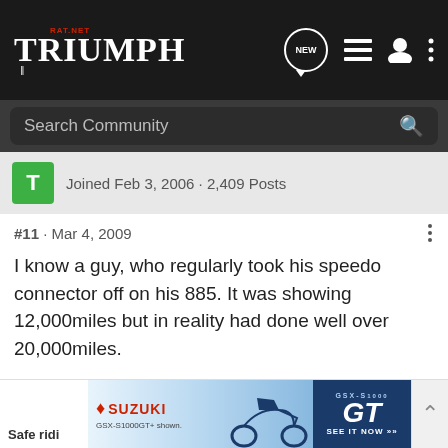RAT.NET TRIUMPH — navigation header with search bar
Joined Feb 3, 2006 · 2,409 Posts
#11 · Mar 4, 2009
I know a guy, who regularly took his speedo connector off on his 885. It was showing 12,000miles but in reality had done well over 20,000miles.

I suppose you could use the MOT certificates to validate mileage.

Good luck 🙂
[Figure (screenshot): Suzuki GSX-S1000 GT advertisement banner at bottom of page]